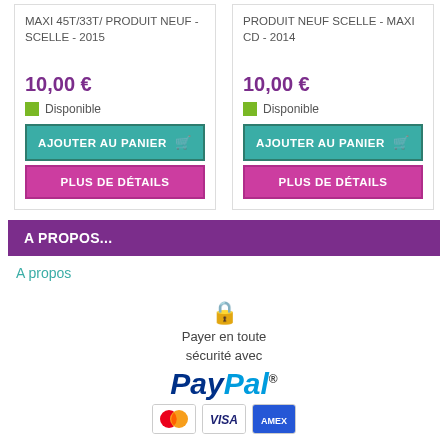MAXI 45T/33T/ PRODUIT NEUF - SCELLE - 2015
PRODUIT NEUF SCELLE - MAXI CD - 2014
10,00 €
10,00 €
Disponible
Disponible
AJOUTER AU PANIER
AJOUTER AU PANIER
PLUS DE DÉTAILS
PLUS DE DÉTAILS
A PROPOS...
A propos
[Figure (infographic): PayPal secure payment badge with lock icon, text 'Payer en toute sécurité avec', PayPal logo, and payment card icons (Mastercard, Visa, Amex)]